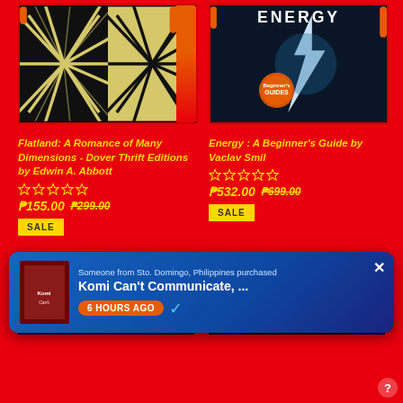[Figure (photo): Book cover of Flatland: A Romance of Many Dimensions - black and white op-art geometric pattern with orange drip decorations on red background]
Flatland: A Romance of Many Dimensions - Dover Thrift Editions by Edwin A. Abbott
[Figure (infographic): Five empty star ratings]
₱155.00  ₱299.00  SALE
[Figure (photo): Book cover of Energy: A Beginner's Guide by Vaclav Smil - dark cover with lightning bolt and Beginner's Guides logo]
Energy : A Beginner's Guide by Vaclav Smil
[Figure (infographic): Five empty star ratings]
₱532.00  ₱699.00  SALE
[Figure (photo): Bottom left book cover - Paperback label visible, dark city scene]
[Figure (photo): Bottom right book cover - Paperback label visible, Carl Sagan book]
[Figure (screenshot): Notification popup: Someone from Sto. Domingo, Philippines purchased Komi Can't Communicate, ... 6 HOURS AGO with checkmark]